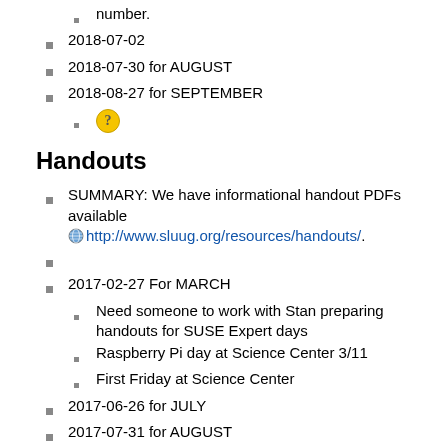number.
2018-07-02
2018-07-30 for AUGUST
2018-08-27 for SEPTEMBER
[question mark icon]
Handouts
SUMMARY: We have informational handout PDFs available http://www.sluug.org/resources/handouts/.
2017-02-27 For MARCH
Need someone to work with Stan preparing handouts for SUSE Expert days
Raspberry Pi day at Science Center 3/11
First Friday at Science Center
2017-06-26 for JULY
2017-07-31 for AUGUST
2017-08-28 for SEPTEMBER